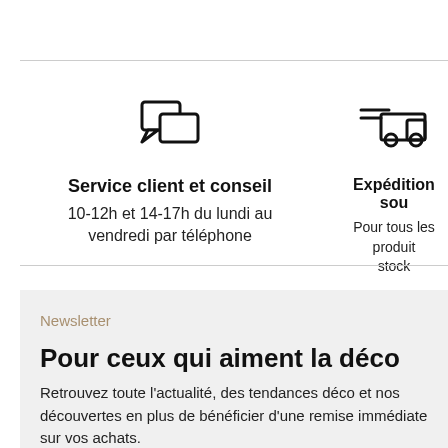[Figure (illustration): Chat bubble / speech bubbles icon representing customer service]
Service client et conseil
10-12h et 14-17h du lundi au vendredi par téléphone
[Figure (illustration): Delivery truck icon representing shipping]
Expédition sou...
Pour tous les produit... stock
Newsletter
Pour ceux qui aiment la déco
Retrouvez toute l'actualité, des tendances déco et nos découvertes en plus de bénéficier d'une remise immédiate sur vos achats.